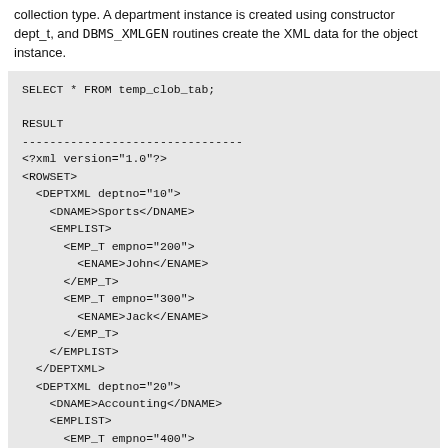collection type. A department instance is created using constructor dept_t, and DBMS_XMLGEN routines create the XML data for the object instance.
SELECT * FROM temp_clob_tab;

RESULT
--------------------------------
<?xml version="1.0"?>
<ROWSET>
  <DEPTXML deptno="10">
    <DNAME>Sports</DNAME>
    <EMPLIST>
      <EMP_T empno="200">
        <ENAME>John</ENAME>
      </EMP_T>
      <EMP_T empno="300">
        <ENAME>Jack</ENAME>
      </EMP_T>
    </EMPLIST>
  </DEPTXML>
  <DEPTXML deptno="20">
    <DNAME>Accounting</DNAME>
    <EMPLIST>
      <EMP_T empno="400">
        <ENAME>Mary</ENAME>
      </EMP_T>